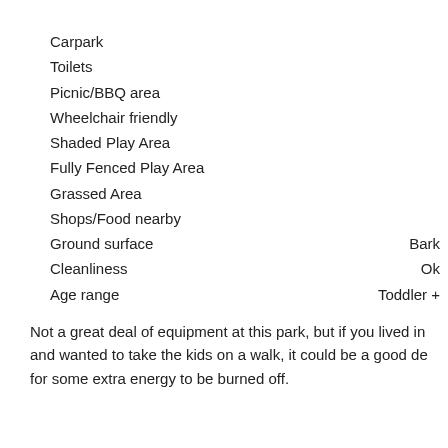Carpark
Toilets
Picnic/BBQ area
Wheelchair friendly
Shaded Play Area
Fully Fenced Play Area
Grassed Area
Shops/Food nearby
Ground surface — Bark
Cleanliness — Ok
Age range — Toddler +
Not a great deal of equipment at this park, but if you lived in and wanted to take the kids on a walk, it could be a good de for some extra energy to be burned off.